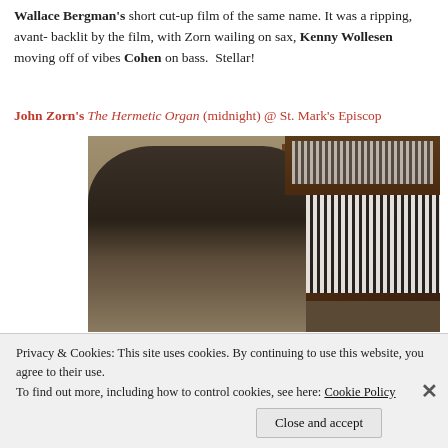Wallace Bergman's short cut-up film of the same name. It was a ripping, avant- backlit by the film, with Zorn wailing on sax, Kenny Wollesen moving off of vibes Cohen on bass.  Stellar!
John Zorn's The Hermetic Organ (midnight) @ St. Mark's Episcop
[Figure (photo): John Zorn playing a large pipe organ in a church setting, wearing a grey hoodie, with organ pipes and keyboards visible]
A special free midnight performance of John Zorn's The Hermetic Organ was acr the street after the final third program of Zorn @ 60.  Most of the crowd piled ove
Privacy & Cookies: This site uses cookies. By continuing to use this website, you agree to their use.
To find out more, including how to control cookies, see here: Cookie Policy
Close and accept